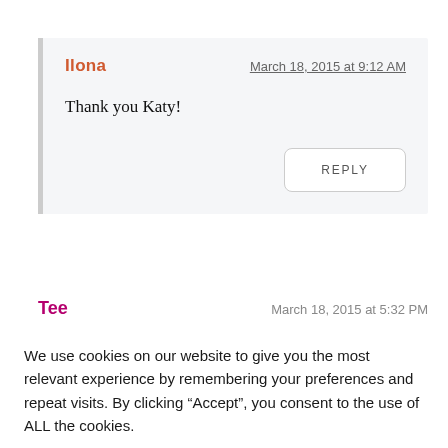Ilona
March 18, 2015 at 9:12 AM
Thank you Katy!
REPLY
Tee
March 18, 2015 at 5:32 PM
We use cookies on our website to give you the most relevant experience by remembering your preferences and repeat visits. By clicking “Accept”, you consent to the use of ALL the cookies.